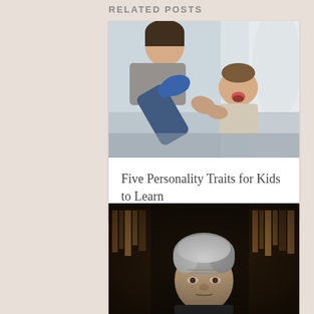RELATED POSTS
[Figure (photo): A young man playing with a toddler child, pulling a blue sock off the child's foot. They appear to be sitting near a bright window.]
Five Personality Traits for Kids to Learn
[Figure (photo): An elderly person with grey disheveled hair, photographed in a dark setting, possibly in front of bookshelves.]